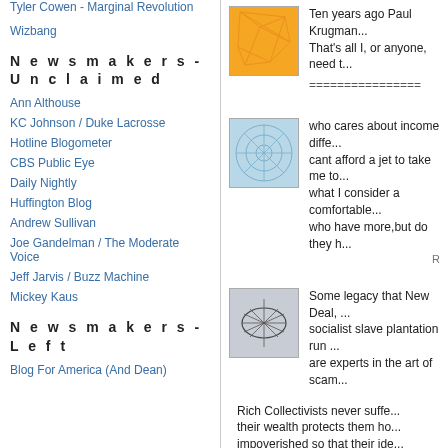Tyler Cowen - Marginal Revolution
Wizbang
Newsmakers - Unclaimed
Ann Althouse
KC Johnson / Duke Lacrosse
Hotline Blogometer
CBS Public Eye
Daily Nightly
Huffington Blog
Andrew Sullivan
Joe Gandelman / The Moderate Voice
Jeff Jarvis / Buzz Machine
Mickey Kaus
Newsmakers - Left
Blog For America (And Dean)
[Figure (illustration): Orange square with geometric network/mesh pattern]
Ten years ago Paul Krugman... That's all I, or anyone, need t...
================
[Figure (illustration): Light blue square with circular network/mesh pattern]
who cares about income diffe... cant afford a jet to take me to... what I consider a comfortable... who have more,but do they h...
[Figure (illustration): Gray/dark square with oval network/mesh pattern]
Some legacy that New Deal, ... socialist slave plantation run ... are experts in the art of scam...
Rich Collectivists never suffe... their wealth protects them ho... impoverished so that their ide...
[Figure (illustration): Green square with radial network/mesh pattern]
We'll have to get along witho...